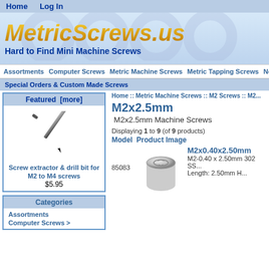Home   Log In
[Figure (logo): MetricScrews.us logo with circular gear motif in blue background. Large gold/yellow italic text 'MetricScrews.us' with dark blue subtitle 'Hard to Find Mini Machine Screws']
Assortments   Computer Screws   Metric Machine Screws   Metric Tapping Screws   No...   Screw Extra...
Special Orders & Custom Made Screws
Featured  [more]
[Figure (photo): Screw extractor and drill bit for M2 to M4 screws - thin black tool on white background]
Screw extractor & drill bit for M2 to M4 screws
$5.95
Categories
Assortments
Computer Screws >
Home :: Metric Machine Screws :: M2 Screws :: M2...
M2x2.5mm
M2x2.5mm Machine Screws
Displaying 1 to 9 (of 9 products)
Model  Product Image
85083
[Figure (photo): M2x0.40x2.50mm screw head viewed from front - round flat head screw]
M2x0.40x2.50mm
M2-0.40 x 2.50mm 302 SS...
Length: 2.50mm H...